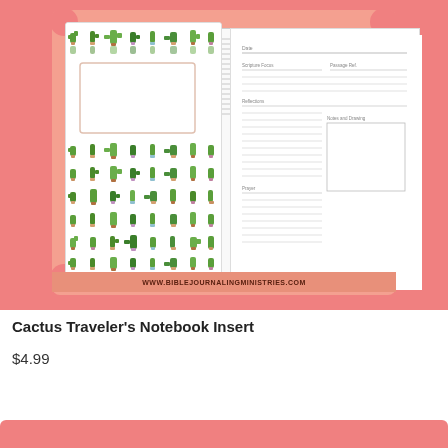[Figure (photo): Product photo of Cactus Traveler's Notebook Insert showing a cactus-themed notebook cover and an interior form page, displayed against a salmon/coral background with decorative scalloped border.]
Cactus Traveler’s Notebook Insert
$4.99